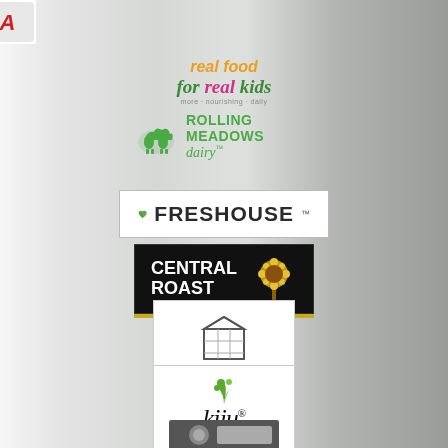[Figure (logo): Partial red brand logo at top left (cropped, text partially visible)]
[Figure (logo): Real food for real kids logo - orange and green italic text with tagline]
[Figure (logo): Rolling Meadows Dairy logo - green text with cow icon]
[Figure (logo): Freshouse logo - dark text with green leaf on white background]
[Figure (logo): Central Roast logo - white bold text on dark/black background with decorative tree]
[Figure (logo): Greenhouse Juice Co. logo - line art carton icon with text on white background]
[Figure (logo): Kiju Organic logo - green plant icon with italic brand name and organic text]
[Figure (logo): Partial logo at bottom, appears to be a metallic/industrial brand mark (cropped)]